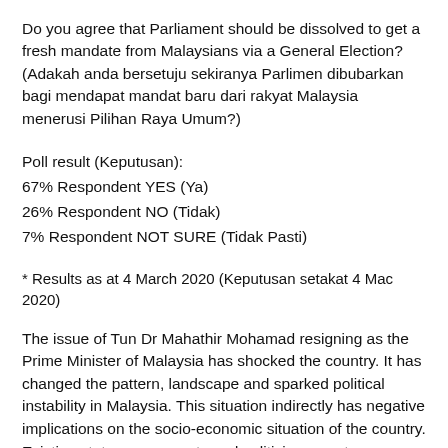Do you agree that Parliament should be dissolved to get a fresh mandate from Malaysians via a General Election? (Adakah anda bersetuju sekiranya Parlimen dibubarkan bagi mendapat mandat baru dari rakyat Malaysia menerusi Pilihan Raya Umum?)
Poll result (Keputusan):
67% Respondent YES (Ya)
26% Respondent NO (Tidak)
7% Respondent NOT SURE (Tidak Pasti)
* Results as at 4 March 2020 (Keputusan setakat 4 Mac 2020)
The issue of Tun Dr Mahathir Mohamad resigning as the Prime Minister of Malaysia has shocked the country. It has changed the pattern, landscape and sparked political instability in Malaysia. This situation indirectly has negative implications on the socio-economic situation of the country. Existing state governments and politicians must immediately resolve the transition of power so that the crisis can be addressed in a healthy and collective political environment in order to uphold the interests of the country.